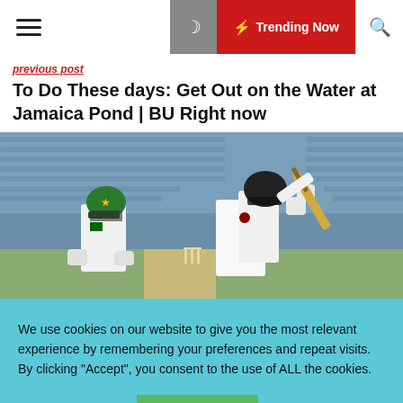☰  🌙  ⚡ Trending Now  🔍
To Do These days: Get Out on the Water at Jamaica Pond | BU Right now
[Figure (photo): Cricket match photo showing a West Indies batsman playing a shot while a Pakistan wicket-keeper in green helmet crouches behind, with blue stadium seats in the background.]
We use cookies on our website to give you the most relevant experience by remembering your preferences and repeat visits. By clicking "Accept", you consent to the use of ALL the cookies.
Cookie settings  ACCEPT